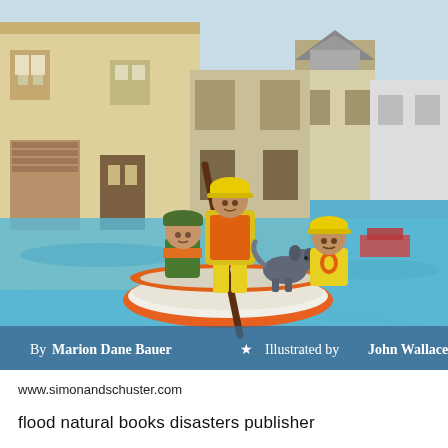[Figure (illustration): Children's book cover illustration showing three children and a dog in an orange rowboat on floodwater, with yellow houses partially submerged in the background. One child stands holding an oar, wearing an orange jacket and yellow pants with a yellow helmet. Another child sits in green clothing with an orange scarf and green hat. A third child in yellow with an orange jacket and yellow helmet pets a gray dog. Text on the image reads: By Marion Dane Bauer * Illustrated by John Wallace.]
www.simonandschuster.com
flood natural books disasters publisher